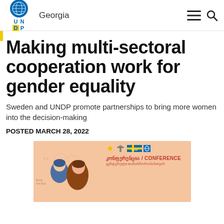Georgia
Making multi-sectoral cooperation work for gender equality
Sweden and UNDP promote partnerships to bring more women into the decision-making
POSTED MARCH 28, 2022
[Figure (illustration): Conference promotional image with peach/salmon background showing two illustrated women figures on the left and Georgian/English text on the right reading 'CONFERENCE' with sponsor logos]